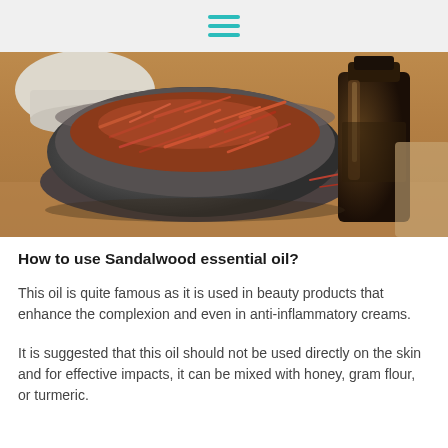≡ (hamburger menu icon)
[Figure (photo): A wooden bowl filled with reddish-brown sandalwood chips/shavings, next to a dark amber glass essential oil bottle, on a wooden surface with a white mortar in the background.]
How to use Sandalwood essential oil?
This oil is quite famous as it is used in beauty products that enhance the complexion and even in anti-inflammatory creams.
It is suggested that this oil should not be used directly on the skin and for effective impacts, it can be mixed with honey, gram flour, or turmeric.